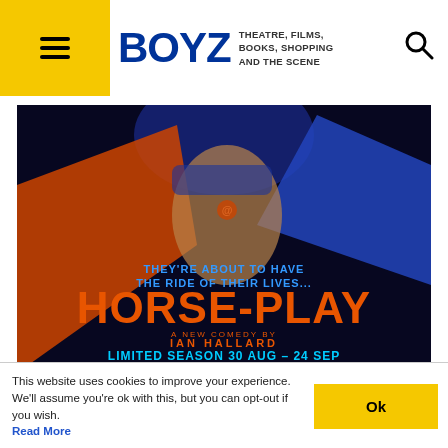BOYZ — THEATRE, FILMS, BOOKS, SHOPPING AND THE SCENE
[Figure (illustration): Horse-Play theatre advertisement. Dark navy background with a shirtless muscular man in a blue superhero costume tearing it open to reveal orange outfit. Text reads: THEY'RE ABOUT TO HAVE THE RIDE OF THEIR LIVES... HORSE-PLAY A NEW COMEDY BY IAN HALLARD LIMITED SEASON 30 AUG – 24 SEP Riverside Studios • riversidestudios.co.uk]
[Figure (illustration): Partial view of Patti Boulaye advertisement with stylized script logo on yellow background and a woman's face on dark background on the right side.]
This website uses cookies to improve your experience. We'll assume you're ok with this, but you can opt-out if you wish. Read More